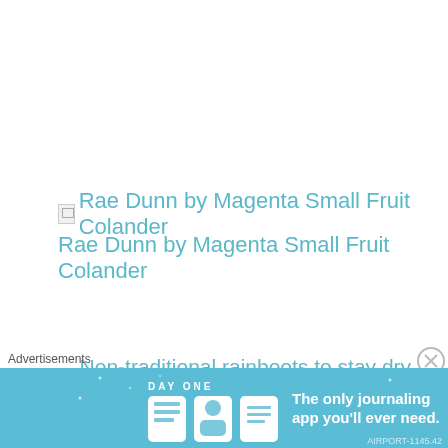[Figure (other): Broken image placeholder for Rae Dunn by Magenta Small Fruit Colander]
Rae Dunn by Magenta Small Fruit Colander
[Figure (other): Broken image placeholder for Non-traditional rainboots to stay dry in style]
Tory Burch Fox Lace Up Rainboot *boo, these adorable guys are sold out*
Advertisements
[Figure (other): DAY ONE journaling app advertisement banner]